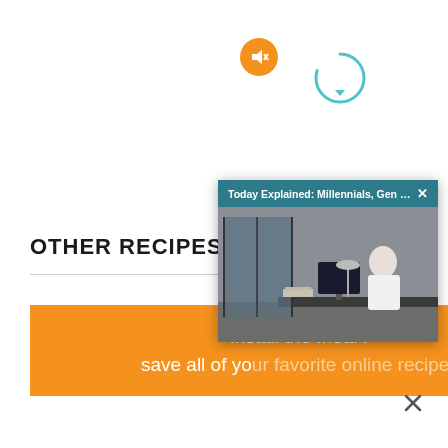OTHER RECIPES YO...
[Figure (screenshot): A video popup overlay with a teal/dark-cyan header bar showing the title 'Today Explained: Millennials, Gen Z Are '...' with a close X button. Below is a thumbnail image of a person sitting at a desk with a computer in an office setting. An orange circular mute button and a teal progress circle are overlaid on the thumbnail.]
Install the Meal P... save all of your favorite online recipes.